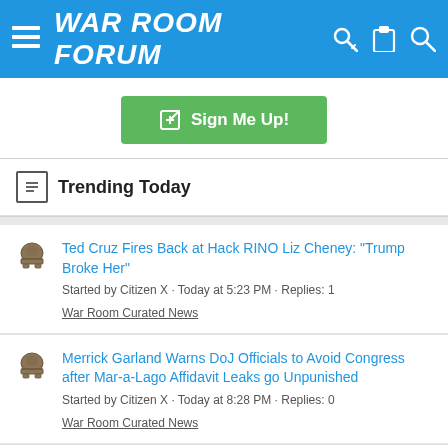WAR ROOM FORUM
Sign Me Up!
Trending Today
Ted Cruz Fires Back at Hack RINO Liz Cheney: "Trump Broke Her"
Started by Citizen X · Today at 5:23 PM · Replies: 1
War Room Curated News
Merrick Garland Warns DoJ Officials to Avoid Congress after Mar-a-Lago Affidavit Leaks go Unpunished
Started by Citizen X · Today at 8:28 PM · Replies: 0
War Room Curated News
Tim Ryan video leaks… Transgenders can count on me…
Started by Citizen X · Today at 8:29 PM · Replies: 0
War Room Curated News